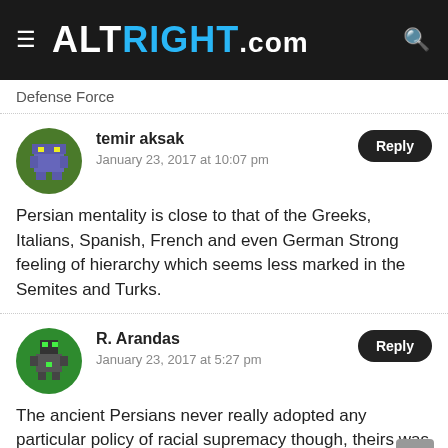ALTRIGHT.COM
Defense Force
temir aksak
January 23, 2017 at 10:07 pm
Persian mentality is close to that of the Greeks, Italians, Spanish, French and even German Strong feeling of hierarchy which seems less marked in the Semites and Turks.
R. Arandas
January 23, 2017 at 5:27 pm
The ancient Persians never really adopted any particular policy of racial supremacy though, theirs was a very cosmopolitan and multi-